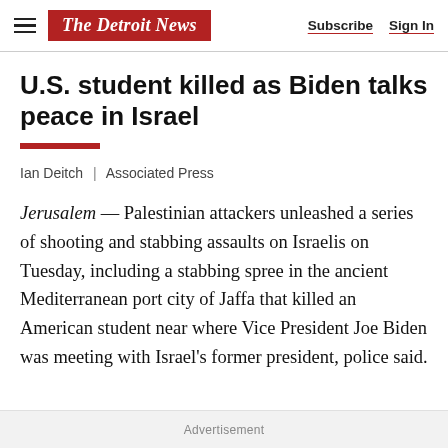The Detroit News | Subscribe | Sign In
U.S. student killed as Biden talks peace in Israel
Ian Deitch | Associated Press
Jerusalem — Palestinian attackers unleashed a series of shooting and stabbing assaults on Israelis on Tuesday, including a stabbing spree in the ancient Mediterranean port city of Jaffa that killed an American student near where Vice President Joe Biden was meeting with Israel's former president, police said.
Advertisement